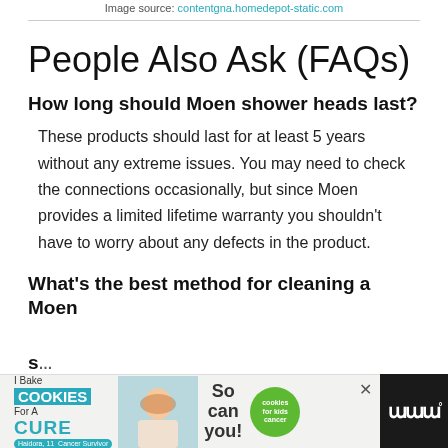Image source: contentgna.homedepot-static.com
People Also Ask (FAQs)
How long should Moen shower heads last?
These products should last for at least 5 years without any extreme issues. You may need to check the connections occasionally, but since Moen provides a limited lifetime warranty you shouldn’t have to worry about any defects in the product.
What’s the best method for cleaning a Moen s…
[Figure (screenshot): Advertisement banner at the bottom of the page: 'I Bake COOKIES For A CURE' with photo of a girl and 'So can you!' text with a green Cookies for Kids Cancer circle logo, and a close button. Right side shows a dark logo area with 'W' symbol.]